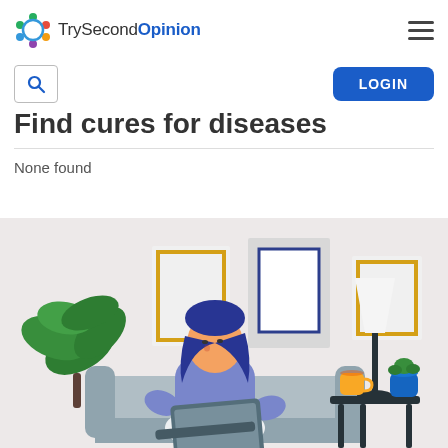TrySecondOpinion
Find cures for diseases
None found
[Figure (illustration): Flat style illustration of a woman with blue hair sitting on a couch using a laptop computer. Behind her are picture frames on a wall. To her left is a large green plant. To her right is a side table with a lamp, a yellow mug, and a blue potted plant.]